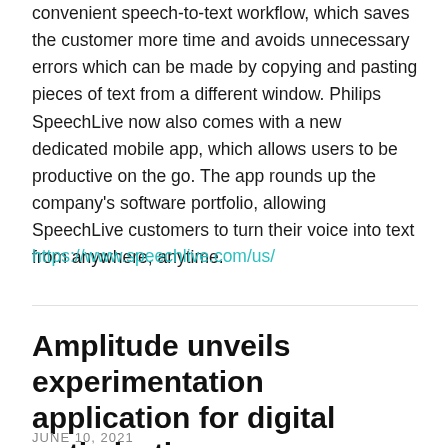convenient speech-to-text workflow, which saves the customer more time and avoids unnecessary errors which can be made by copying and pasting pieces of text from a different window. Philips SpeechLive now also comes with a new dedicated mobile app, which allows users to be productive on the go. The app rounds up the company's software portfolio, allowing SpeechLive customers to turn their voice into text from anywhere, anytime.
https://www.speechlive.com/us/
Amplitude unveils experimentation application for digital optimization
JUNE 10, 2021